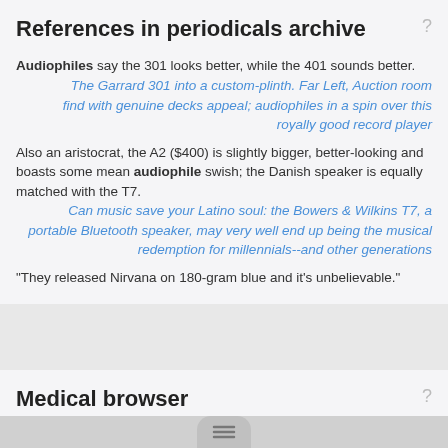References in periodicals archive
Audiophiles say the 301 looks better, while the 401 sounds better.
The Garrard 301 into a custom-plinth. Far Left, Auction room find with genuine decks appeal; audiophiles in a spin over this royally good record player
Also an aristocrat, the A2 ($400) is slightly bigger, better-looking and boasts some mean audiophile swish; the Danish speaker is equally matched with the T7.
Can music save your Latino soul: the Bowers & Wilkins T7, a portable Bluetooth speaker, may very well end up being the musical redemption for millennials--and other generations
"They released Nirvana on 180-gram blue and it's unbelievable."
Medical browser
audiometric zero
audiometrist